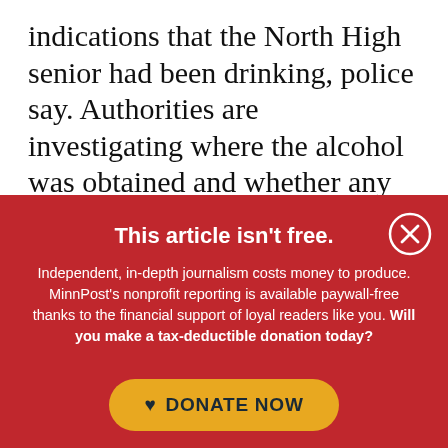indications that the North High senior had been drinking, police say. Authorities are investigating where the alcohol was obtained and whether any other substances were involved that led to the teen’s death, said Maplewood Police Chief Paul Schnell.
This article isn't free.
Independent, in-depth journalism costs money to produce. MinnPost’s nonprofit reporting is available paywall-free thanks to the financial support of loyal readers like you. Will you make a tax-deductible donation today?
DONATE NOW